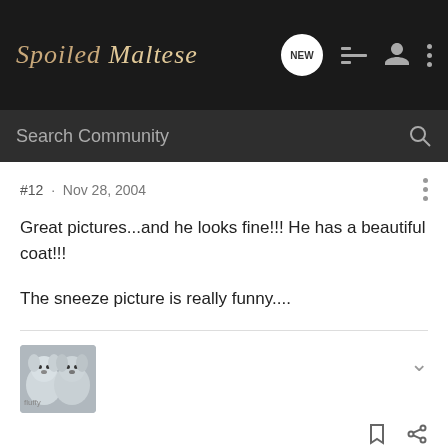Spoiled Maltese
#12 · Nov 28, 2004
Great pictures...and he looks fine!!! He has a beautiful coat!!!

The sneeze picture is really funny....
[Figure (photo): Avatar thumbnail showing two small fluffy grey/white dogs]
CalsMom · Registered